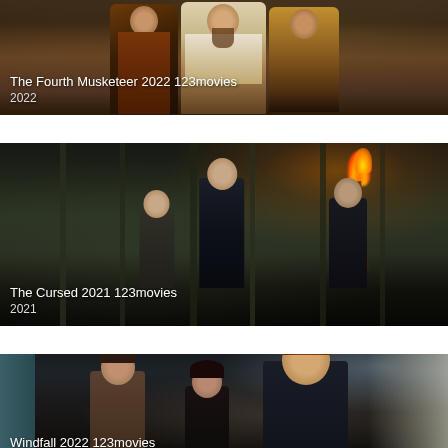[Figure (photo): Movie thumbnail for The Fourth Musketeer 2022 showing costumed characters in period clothing]
The Fourth Musketeer 2022 123movies
2022
[Figure (photo): Movie thumbnail for The Cursed 2021 showing dark forest scene with man holding a flaming torch]
The Cursed 2021 123movies
2021
[Figure (photo): Movie thumbnail for Windfall 2022 showing three people including a redheaded man]
Windfall 2022 123movies
2022